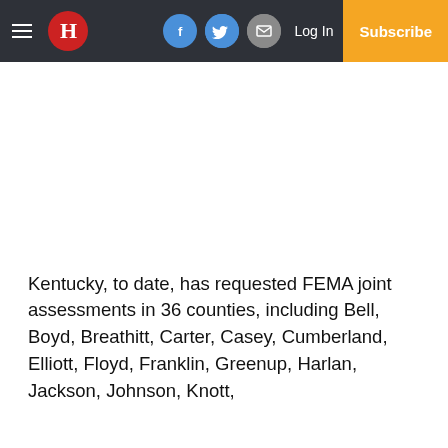H — [navbar with logo, Facebook, Twitter, Email icons, Log In, Subscribe]
Kentucky, to date, has requested FEMA joint assessments in 36 counties, including Bell, Boyd, Breathitt, Carter, Casey, Cumberland, Elliott, Floyd, Franklin, Greenup, Harlan, Jackson, Johnson, Knott,